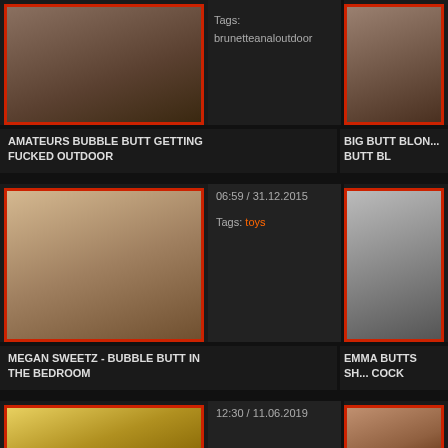[Figure (photo): Thumbnail image left top - amateur outdoor scene]
Tags: brunetteanaloutdoor
[Figure (photo): Thumbnail image right top - big butt blonde scene]
AMATEURS BUBBLE BUTT GETTING FUCKED OUTDOOR
BIG BUTT BLONDE BUTT BL
[Figure (photo): Thumbnail image left middle - Megan Sweetz bedroom scene]
06:59 / 31.12.2015
Tags: toys
[Figure (photo): Thumbnail image right middle - Emma Butts office scene]
MEGAN SWEETZ - BUBBLE BUTT IN THE BEDROOM
EMMA BUTTS SH... COCK
[Figure (photo): Thumbnail image left bottom - colorful scene]
12:30 / 11.06.2019
[Figure (photo): Thumbnail image right bottom - partial view]